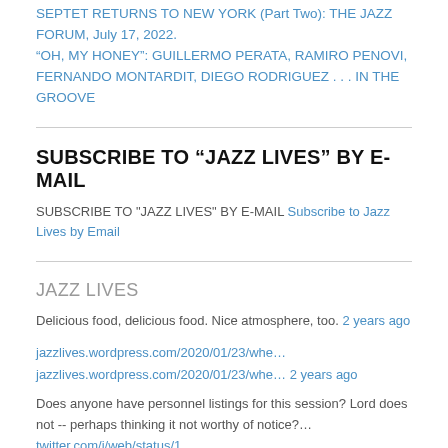SEPTET RETURNS TO NEW YORK (Part Two): THE JAZZ FORUM, July 17, 2022.
“OH, MY HONEY”: GUILLERMO PERATA, RAMIRO PENOVI, FERNANDO MONTARDIT, DIEGO RODRIGUEZ . . . IN THE GROOVE
SUBSCRIBE TO “JAZZ LIVES” BY E-MAIL
SUBSCRIBE TO "JAZZ LIVES" BY E-MAIL Subscribe to Jazz Lives by Email
JAZZ LIVES
Delicious food, delicious food. Nice atmosphere, too. 2 years ago
jazzlives.wordpress.com/2020/01/23/whe…
jazzlives.wordpress.com/2020/01/23/whe… 2 years ago
Does anyone have personnel listings for this session? Lord does not -- perhaps thinking it not worthy of notice?… twitter.com/i/web/status/1…